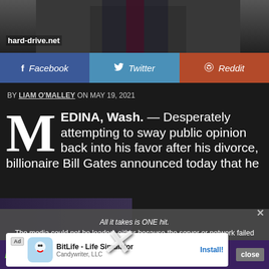[Figure (photo): Photo of a man in a suit, partially visible, dark background. Site watermark 'hard-drive.net' in white text.]
hard-drive.net
[Figure (infographic): Social sharing bar with Facebook, Twitter, and Reddit buttons]
BY LIAM O'MALLEY ON MAY 19, 2021
MEDINA, Wash. — Desperately attempting to sway public opinion back into his favor after his divorce, billionaire Bill Gates announced today that he
[Figure (screenshot): Video player error overlay: 'All it takes is ONE hit.' and 'The media could not be loaded, either because the server or network failed or because the format is not supported.']
[Figure (infographic): Hard Drive Twitch banner advertisement with large stylized text 'HARD DRIVE TWITCH' and a large X and close button]
[Figure (screenshot): Mobile app advertisement for BitLife - Life Simulator by Candywriter, LLC with Install button]